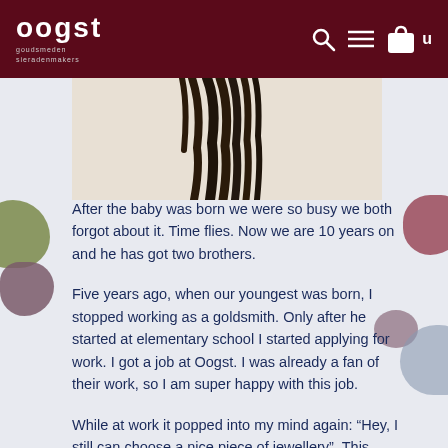oogst goudsmeden sieradenmakers
[Figure (photo): Partial photo showing dark hair against a light/cream background, cropped at top]
After the baby was born we were so busy we both forgot about it. Time flies. Now we are 10 years on and he has got two brothers.
Five years ago, when our youngest was born, I stopped working as a goldsmith. Only after he started at elementary school I started applying for work. I got a job at Oogst. I was already a fan of their work, so I am super happy with this job.
While at work it popped into my mind again: “Hey, I still can choose a nice piece of jewellery”. This lovely Oogst ring, with